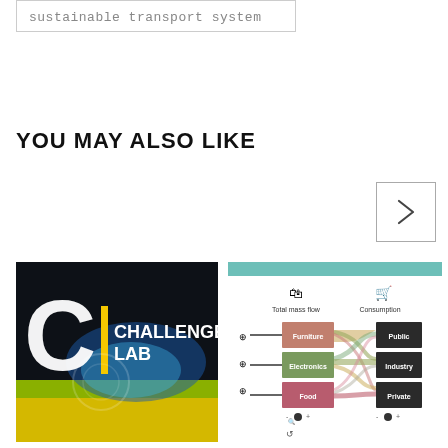sustainable transport system
YOU MAY ALSO LIKE
[Figure (other): Navigation arrow button pointing right]
[Figure (photo): Challenge Lab logo card with large C letter in white, yellow bar, text CHALLENGE LAB over a scenic yellow flower field with blue sky background]
[Figure (other): Sankey diagram showing Total mass flow and Consumption with categories: Furniture, Electronics, Food on the left and Public, Industry, Private on the right, with colorful flow bands connecting them, against a teal header bar]